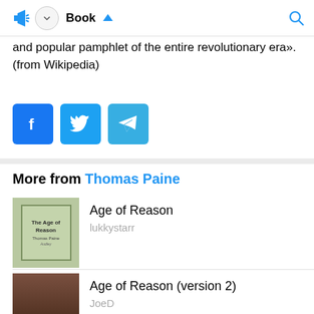Book
and popular pamphlet of the entire revolutionary era».(from Wikipedia)
[Figure (other): Social share buttons: Facebook, Twitter, Telegram]
More from Thomas Paine
[Figure (other): Book cover: The Age of Reason by Thomas Paine]
Age of Reason
lukkystarr
[Figure (other): Book cover: Age of Reason by Thomas Paine (portrait)]
Age of Reason (version 2)
JoeD
[Figure (other): Book cover: Common Sense by Thomas Paine]
Common Sense
Gary Gilberd